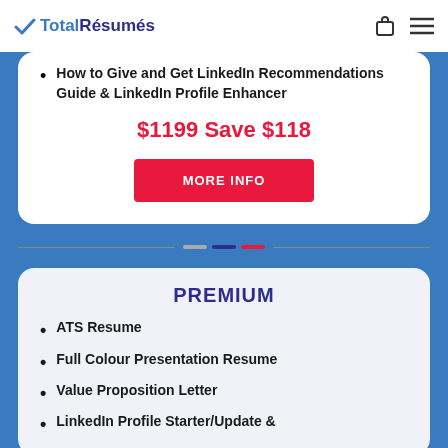TotalRésumés
How to Give and Get LinkedIn Recommendations Guide & LinkedIn Profile Enhancer
$1199 Save $118
MORE INFO
PREMIUM
ATS Resume
Full Colour Presentation Resume
Value Proposition Letter
LinkedIn Profile Starter/Update &